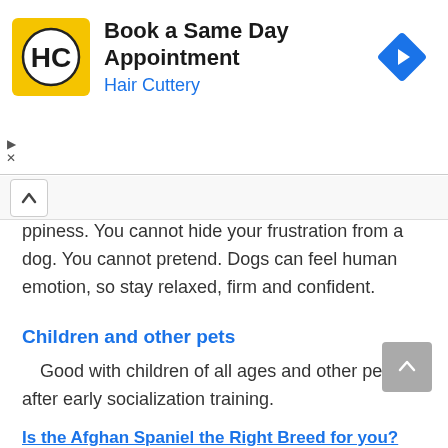[Figure (other): Hair Cuttery advertisement banner. Yellow square logo with HC letters, headline 'Book a Same Day Appointment', company name 'Hair Cuttery' in blue, blue diamond navigation arrow icon on the right. Small play and close controls on the left edge.]
ppiness. You cannot hide your frustration from a dog. You cannot pretend. Dogs can feel human emotion, so stay relaxed, firm and confident.
Children and other pets
Good with children of all ages and other pets after early socialization training.
Is the Afghan Spaniel the Right Breed for you?